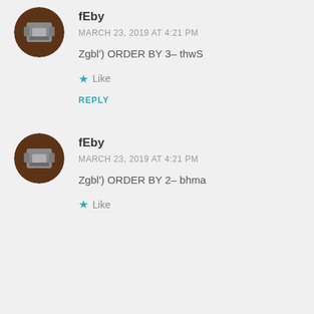fEby
MARCH 23, 2019 AT 4:21 PM
Zgbl') ORDER BY 3– thwS
Like
REPLY
fEby
MARCH 23, 2019 AT 4:21 PM
Zgbl') ORDER BY 2– bhma
Like